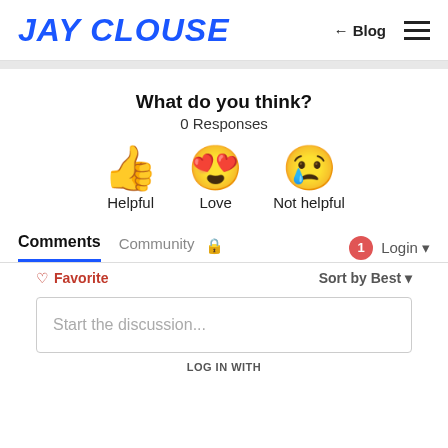JAY CLOUSE   ← Blog   ☰
What do you think?
0 Responses
[Figure (illustration): Three emoji icons in a row: thumbs up (Helpful), heart-eyes face (Love), crying face (Not helpful)]
Comments   Community   🔒   1   Login
♡ Favorite   Sort by Best
Start the discussion...
LOG IN WITH